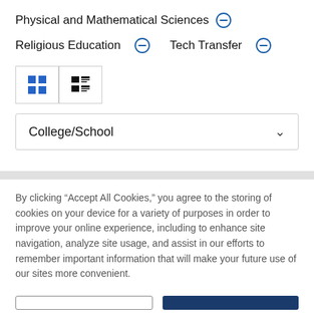Physical and Mathematical Sciences ⊖
Religious Education ⊖   Tech Transfer ⊖
[Figure (screenshot): View toggle buttons: grid view (blue squares icon, active) and list view (black list icon)]
College/School (dropdown)
By clicking “Accept All Cookies,” you agree to the storing of cookies on your device for a variety of purposes in order to improve your online experience, including to enhance site navigation, analyze site usage, and assist in our efforts to remember important information that will make your future use of our sites more convenient.